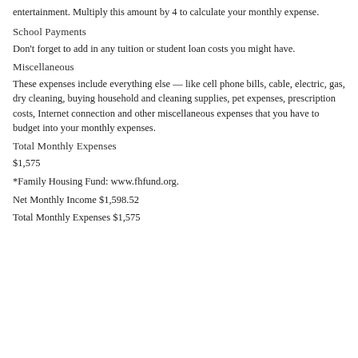entertainment. Multiply this amount by 4 to calculate your monthly expense.
School Payments
Don't forget to add in any tuition or student loan costs you might have.
Miscellaneous
These expenses include everything else — like cell phone bills, cable, electric, gas, dry cleaning, buying household and cleaning supplies, pet expenses, prescription costs, Internet connection and other miscellaneous expenses that you have to budget into your monthly expenses.
Total Monthly Expenses
$1,575
*Family Housing Fund: www.fhfund.org.
Net Monthly Income $1,598.52
Total Monthly Expenses $1,575